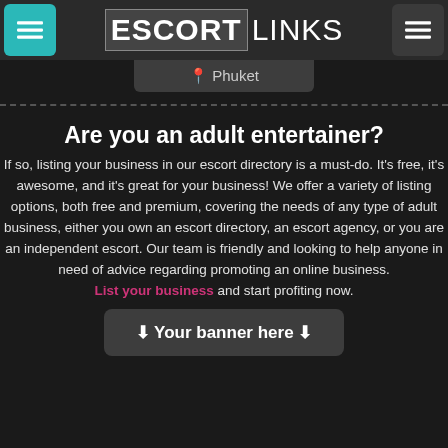ESCORTLINKS
Phuket
Are you an adult entertainer?
If so, listing your business in our escort directory is a must-do. It's free, it's awesome, and it's great for your business! We offer a variety of listing options, both free and premium, covering the needs of any type of adult business, either you own an escort directory, an escort agency, or you are an independent escort. Our team is friendly and looking to help anyone in need of advice regarding promoting an online business. List your business and start profiting now.
Your banner here